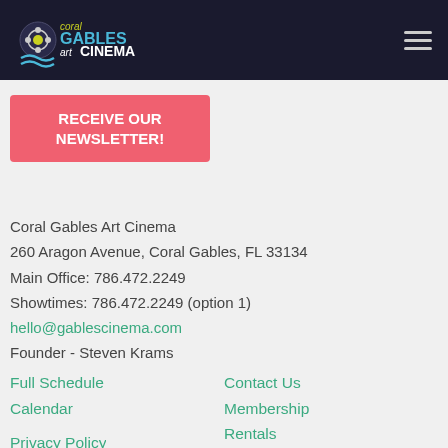Coral Gables Art Cinema — navigation header with logo and hamburger menu
RECEIVE OUR NEWSLETTER!
Coral Gables Art Cinema
260 Aragon Avenue, Coral Gables, FL 33134
Main Office: 786.472.2249
Showtimes: 786.472.2249 (option 1)
hello@gablescinema.com
Founder - Steven Krams
Full Schedule
Calendar
Contact Us
Membership
Rentals
Ticket Prices
Directions & Parking
Privacy Policy